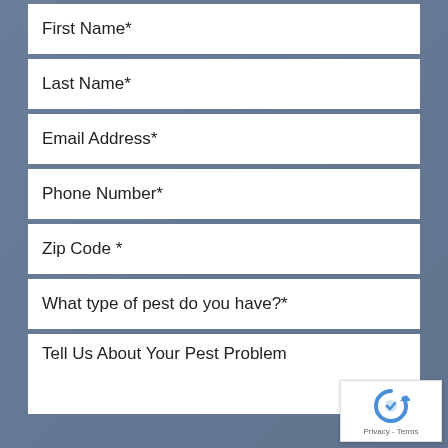First Name*
Last Name*
Email Address*
Phone Number*
Zip Code *
What type of pest do you have?*
Tell Us About Your Pest Problem
[Figure (logo): reCAPTCHA badge with circular arrow logo and Privacy - Terms text]